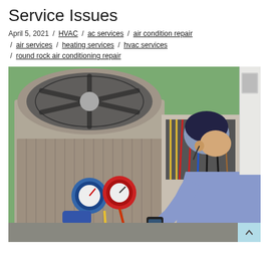Service Issues
April 5, 2021  /  HVAC  /  ac services  /  air condition repair  /  air services  /  heating services  /  hvac services  /  round rock air conditioning repair
[Figure (photo): HVAC technician servicing an outdoor air conditioning unit, using pressure gauges and a multimeter to diagnose the system.]